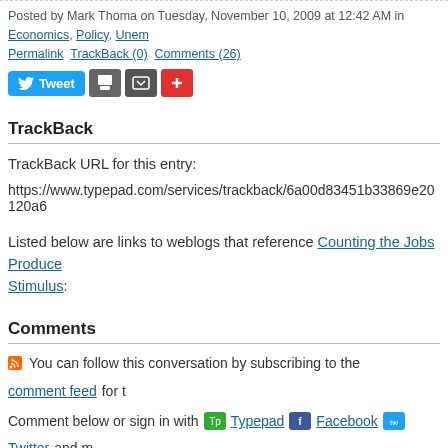Posted by Mark Thoma on Tuesday, November 10, 2009 at 12:42 AM in Economics, Policy, Unem
Permalink | TrackBack (0) | Comments (26)
[Figure (other): Social sharing buttons: Tweet (Twitter blue button), print icon (grey), save icon (grey), add icon (red plus)]
TrackBack
TrackBack URL for this entry:
https://www.typepad.com/services/trackback/6a00d83451b33869e20120a6
Listed below are links to weblogs that reference Counting the Jobs Produced by the Stimulus:
Comments
You can follow this conversation by subscribing to the comment feed for t
Comment below or sign in with Typepad Facebook Twitter and m